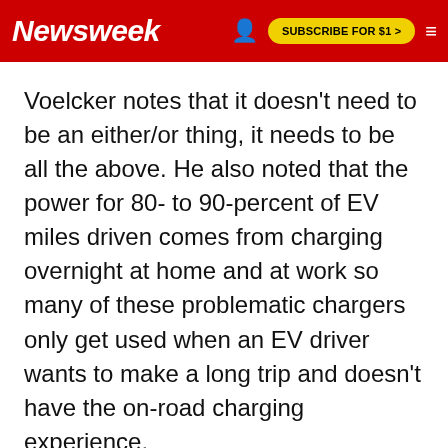Newsweek | SUBSCRIBE FOR $1 >
Voelcker notes that it doesn't need to be an either/or thing, it needs to be all the above. He also noted that the power for 80- to 90-percent of EV miles driven comes from charging overnight at home and at work so many of these problematic chargers only get used when an EV driver wants to make a long trip and doesn't have the on-road charging experience.
For the majority of drivers, a little planning will